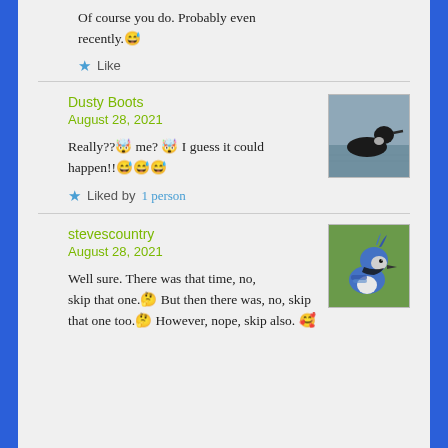Of course you do. Probably even recently. 😅
★ Like
Dusty Boots
August 28, 2021
Really??🤯 me? 🤯 I guess it could happen!!😅😅😅
★ Liked by 1 person
[Figure (photo): Photo of a loon swimming on water, dark bird on grey water surface]
stevescountry
August 28, 2021
Well sure. There was that time, no, skip that one.🤔 But then there was, no, skip that one too.🤔 However, nope, skip also. 🥰
[Figure (photo): Photo of a blue jay bird, close-up showing blue and white feathers]